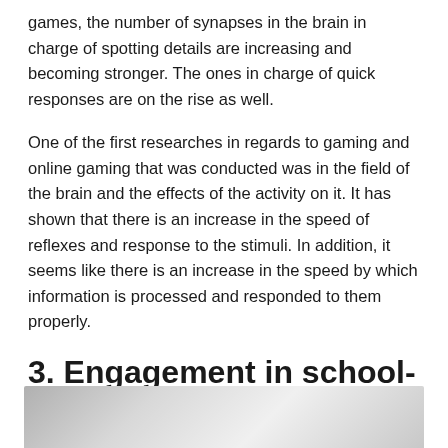games, the number of synapses in the brain in charge of spotting details are increasing and becoming stronger. The ones in charge of quick responses are on the rise as well.
One of the first researches in regards to gaming and online gaming that was conducted was in the field of the brain and the effects of the activity on it. It has shown that there is an increase in the speed of reflexes and response to the stimuli. In addition, it seems like there is an increase in the speed by which information is processed and responded to them properly.
3. Engagement in school-related activities
[Figure (photo): Partial view of a photograph, showing a grey-toned image, cropped at the bottom of the page.]